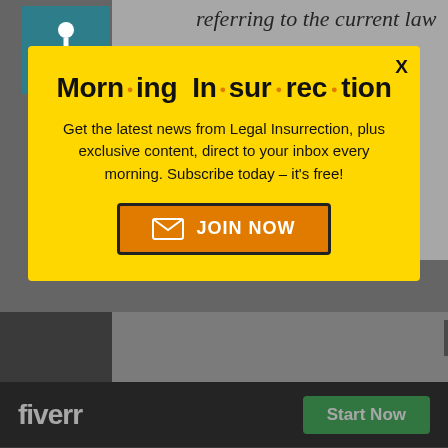referring to the current law ...
Scalia's point still stands. The
[Figure (infographic): Morning Insurrection newsletter signup modal overlay. Yellow background popup with bold title 'Morning Insurrection' with orange dots, subscription text, and orange JOIN NOW button with envelope icon. X close button top right.]
ge this. Otherwise, op
[Figure (logo): Fiverr advertisement bar: black background with white Fiverr logo on left and green Start Now button on right]
anarchy